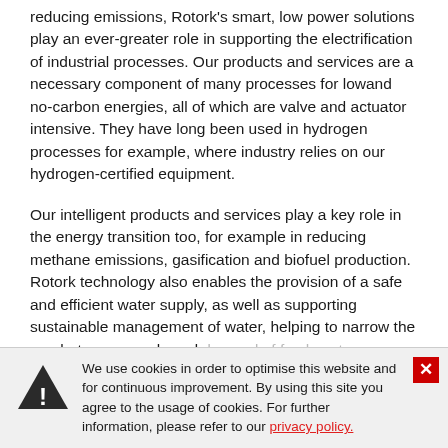reducing emissions, Rotork's smart, low power solutions play an ever-greater role in supporting the electrification of industrial processes. Our products and services are a necessary component of many processes for lowand no-carbon energies, all of which are valve and actuator intensive. They have long been used in hydrogen processes for example, where industry relies on our hydrogen-certified equipment.
Our intelligent products and services play a key role in the energy transition too, for example in reducing methane emissions, gasification and biofuel production. Rotork technology also enables the provision of a safe and efficient water supply, as well as supporting sustainable management of water, helping to narrow the gap between supply and demand of fresh water.
[Figure (infographic): Cookie consent banner with warning triangle icon and close button (red X). Text reads: We use cookies in order to optimise this website and for continuous improvement. By using this site you agree to the usage of cookies. For further information, please refer to our privacy policy.]
New energies